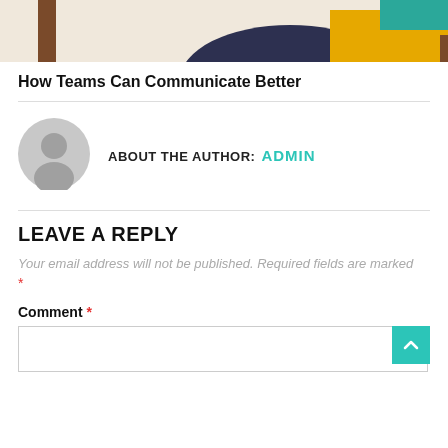[Figure (illustration): Partial view of an editorial illustration showing a person sitting on a yellow chair with dark clothing, with a table or desk leg visible on the left, on a beige background.]
How Teams Can Communicate Better
ABOUT THE AUTHOR: ADMIN
LEAVE A REPLY
Your email address will not be published. Required fields are marked *
Comment *